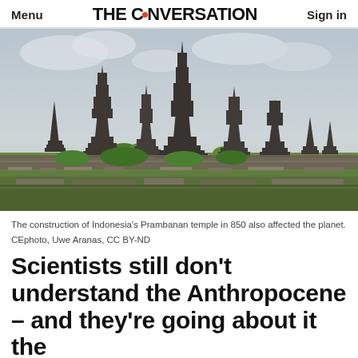Menu | THE CONVERSATION | Sign in
[Figure (photo): Photograph of Indonesia's Prambanan temple complex showing multiple tall dark stone spired towers rising against a cloudy sky, with green grass and stone ruins in the foreground.]
The construction of Indonesia's Prambanan temple in 850 also affected the planet. CEphoto, Uwe Aranas, CC BY-ND
Scientists still don't understand the Anthropocene – and they're going about it the